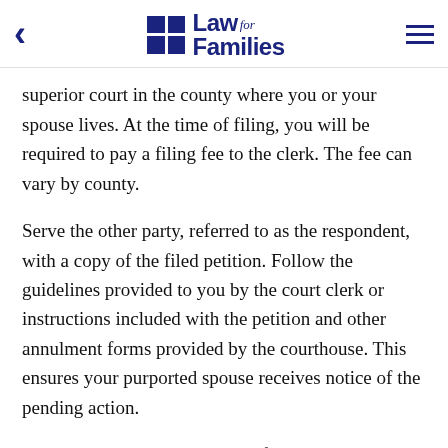Law for Families
superior court in the county where you or your spouse lives. At the time of filing, you will be required to pay a filing fee to the clerk. The fee can vary by county.
Serve the other party, referred to as the respondent, with a copy of the filed petition. Follow the guidelines provided to you by the court clerk or instructions included with the petition and other annulment forms provided by the courthouse. This ensures your purported spouse receives notice of the pending action.
Wait the required time allowed for your spouse to